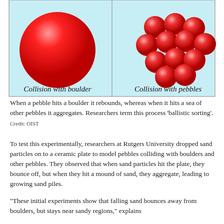[Figure (illustration): Two-panel illustration on light blue background. Left panel shows a single large red sphere labeled 'Collision with boulder'. Right panel shows a cluster of smaller red spheres labeled 'Collision with pebbles'.]
When a pebble hits a boulder it rebounds, whereas when it hits a sea of other pebbles it aggregates. Researchers term this process ‘ballistic sorting’.
Credit: OIST
To test this experimentally, researchers at Rutgers University dropped sand particles on to a ceramic plate to model pebbles colliding with boulders and other pebbles. They observed that when sand particles hit the plate, they bounce off, but when they hit a mound of sand, they aggregate, leading to growing sand piles.
“These initial experiments show that falling sand bounces away from boulders, but stays near sandy regions,” explains